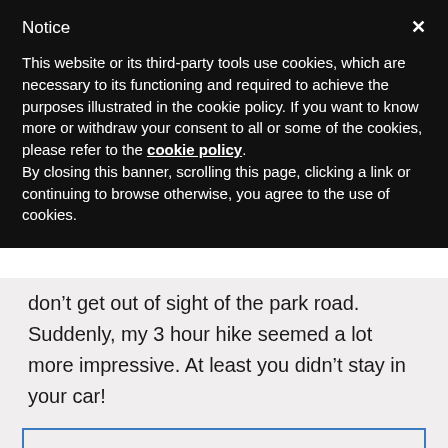Notice
This website or its third-party tools use cookies, which are necessary to its functioning and required to achieve the purposes illustrated in the cookie policy. If you want to know more or withdraw your consent to all or some of the cookies, please refer to the cookie policy.
By closing this banner, scrolling this page, clicking a link or continuing to browse otherwise, you agree to the use of cookies.
don’t get out of sight of the park road. Suddenly, my 3 hour hike seemed a lot more impressive. At least you didn’t stay in your car!
Jess recently posted..Twin Cities Ice Cream Favorites
Reply